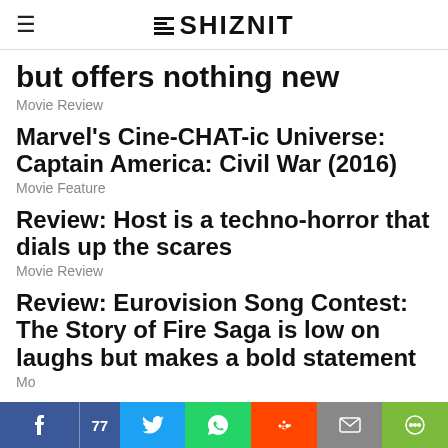SHIZNIT
but offers nothing new
Movie Review
Marvel's Cine-CHAT-ic Universe: Captain America: Civil War (2016)
Movie Feature
Review: Host is a techno-horror that dials up the scares
Movie Review
Review: Eurovision Song Contest: The Story of Fire Saga is low on laughs but makes a bold statement
Movie Review
[Figure (infographic): Social share bar with Facebook (77 shares), Twitter, WhatsApp, Reddit, Email, and More buttons]